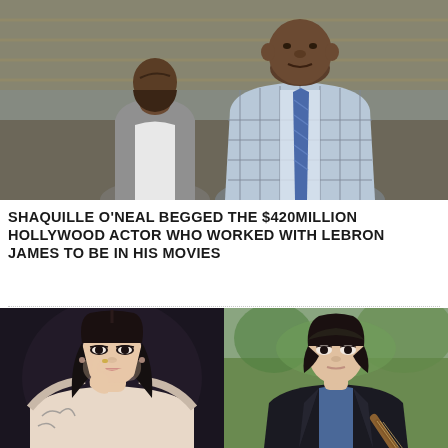[Figure (photo): Two men talking at what appears to be a sports arena — one in a grey hoodie and white shirt seen from behind, the other a large man in a light blue plaid suit with a blue striped tie, facing the camera. Crowd seating visible in background.]
SHAQUILLE O'NEAL BEGGED THE $420MILLION HOLLYWOOD ACTOR WHO WORKED WITH LEBRON JAMES TO BE IN HIS MOVIES
[Figure (photo): Side-by-side photos: left shows a young Asian woman with long black hair, wearing a low-cut outfit, touching her chin with her hand, with tattoos visible; right shows a young Asian man with medium-length dark hair wearing a dark jacket over a blue shirt, appearing to hold an instrument, with outdoor greenery in background.]